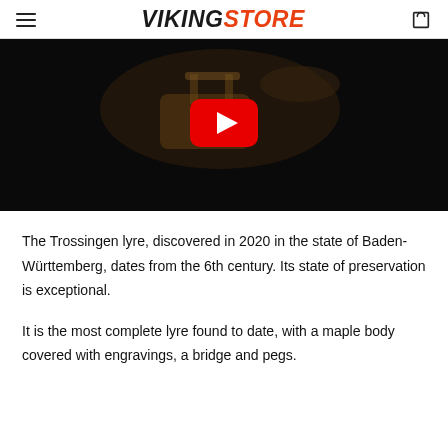VIKINGSTORE
[Figure (screenshot): YouTube video thumbnail showing a person holding a lyre (Trossingen lyre) against a dark/black background, with a large red YouTube play button overlay in the center.]
The Trossingen lyre, discovered in 2020 in the state of Baden-Württemberg, dates from the 6th century. Its state of preservation is exceptional.
It is the most complete lyre found to date, with a maple body covered with engravings, a bridge and pegs.